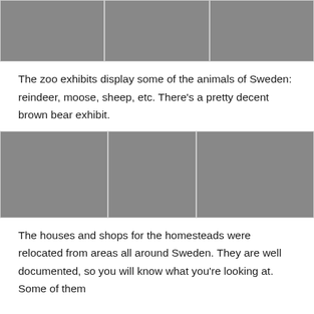[Figure (photo): Three photos in a horizontal strip showing zoo animals in Sweden: sheep/birds in foliage, forested animal enclosure with rocks, and forested enclosure with trees and path]
The zoo exhibits display some of the animals of Sweden: reindeer, moose, sheep, etc. There’s a pretty decent brown bear exhibit.
[Figure (photo): Three photos in a horizontal strip showing Swedish homestead buildings: red Swedish cottage with garden, wooden church/chapel building, log cabin with grass sod roof]
The houses and shops for the homesteads were relocated from areas all around Sweden. They are well documented, so you will know what you’re looking at. Some of them have